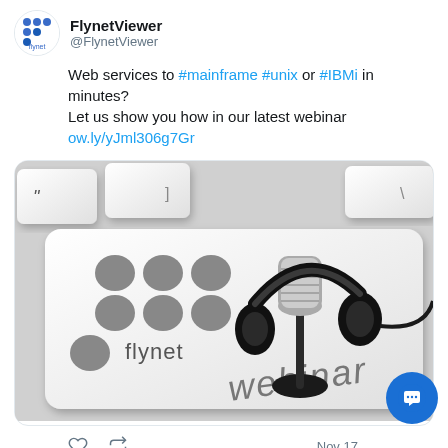FlynetViewer @FlynetViewer
Web services to #mainframe #unix or #IBMi in minutes? Let us show you how in our latest webinar ow.ly/yJml306g7Gr
[Figure (photo): A keyboard key styled as a 'flynet webinar' key with the Flynet logo (six gray circles arranged in a 2x3 grid) and the text 'flynet webinar' on it. A microphone and headphones sit on top of the key. The image is styled like a promotional photo on a white keyboard background.]
Nov 17...
FlynetViewer @FlynetViewer